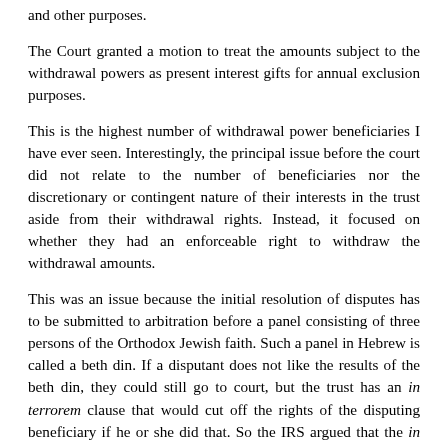and other purposes.
The Court granted a motion to treat the amounts subject to the withdrawal powers as present interest gifts for annual exclusion purposes.
This is the highest number of withdrawal power beneficiaries I have ever seen. Interestingly, the principal issue before the court did not relate to the number of beneficiaries nor the discretionary or contingent nature of their interests in the trust aside from their withdrawal rights. Instead, it focused on whether they had an enforceable right to withdraw the withdrawal amounts.
This was an issue because the initial resolution of disputes has to be submitted to arbitration before a panel consisting of three persons of the Orthodox Jewish faith. Such a panel in Hebrew is called a beth din. If a disputant does not like the results of the beth din, they could still go to court, but the trust has an in terrorem clause that would cut off the rights of the disputing beneficiary if he or she did that. So the IRS argued that the in terrorem clause effectively voided the withdrawal beneficiaries power to legally enforce his or her